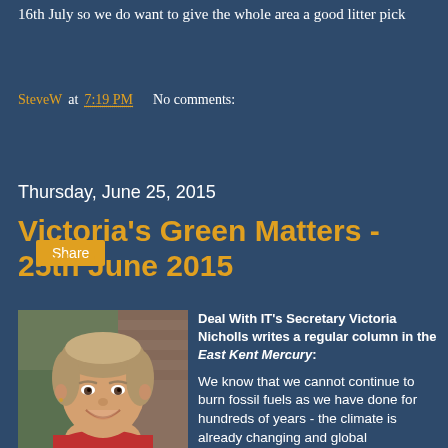16th July so we do want to give the whole area a good litter pick
SteveW at 7:19 PM    No comments:
Share
Thursday, June 25, 2015
Victoria's Green Matters - 25th June 2015
[Figure (photo): Portrait photo of Victoria Nicholls, a smiling middle-aged woman with short light hair, wearing a red top, photographed outdoors near a brick wall.]
Deal With IT's Secretary Victoria Nicholls writes a regular column in the East Kent Mercury:
We know that we cannot continue to burn fossil fuels as we have done for hundreds of years - the climate is already changing and global